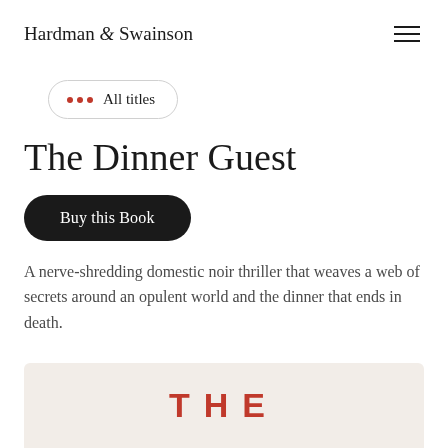Hardman & Swainson
All titles
The Dinner Guest
Buy this Book
A nerve-shredding domestic noir thriller that weaves a web of secrets around an opulent world and the dinner that ends in death.
[Figure (illustration): Partial view of a book cover with large red bold uppercase letters 'THE' on a light beige/cream background]